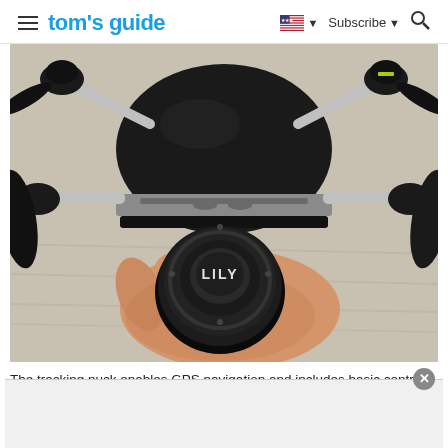tom's guide | Subscribe
[Figure (photo): Close-up photo of a Lily drone with a black circular tracking puck labeled 'LILY' being held in a hand. The drone has a large black disc-shaped body with silver arms and black propeller guards visible.]
The tracking puck enables GPS navigation and includes basic controls for the drone.